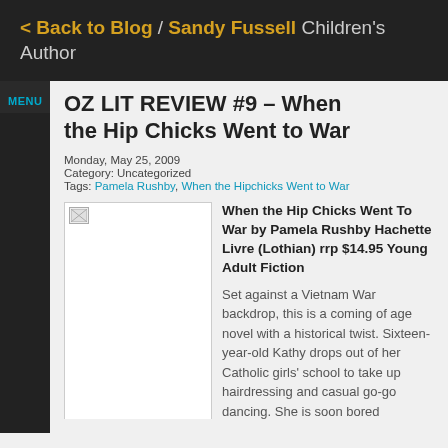< Back to Blog / Sandy Fussell Children's Author
MENU
OZ LIT REVIEW #9 – When the Hip Chicks Went to War
Monday, May 25, 2009
Category: Uncategorized
Tags: Pamela Rushby, When the Hipchicks Went to War
[Figure (photo): Book cover image placeholder]
When the Hip Chicks Went To War by Pamela Rushby Hachette Livre (Lothian) rrp $14.95 Young Adult Fiction
Set against a Vietnam War backdrop, this is a coming of age novel with a historical twist. Sixteen-year-old Kathy drops out of her Catholic girls' school to take up hairdressing and casual go-go dancing. She is soon bored